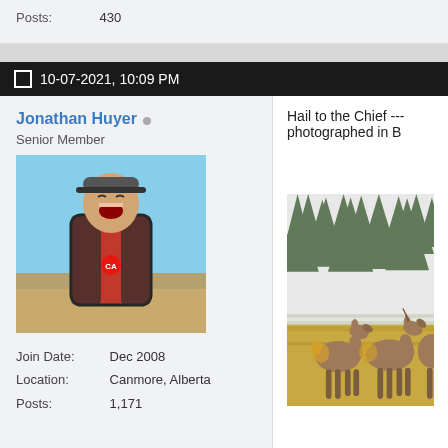Posts: 430
10-07-2021, 10:09 PM
Jonathan Huyer
Senior Member
[Figure (photo): Profile photo of Jonathan Huyer, person laughing outdoors in red shirt and hat]
Join Date: Dec 2008
Location: Canmore, Alberta
Posts: 1,171
Hail to the Chief --- photographed in B
[Figure (photo): Photo of elk (deer) standing in a field with snow-dusted ground and evergreen forest background. Two elk visible in foreground with a third partially visible at right edge.]